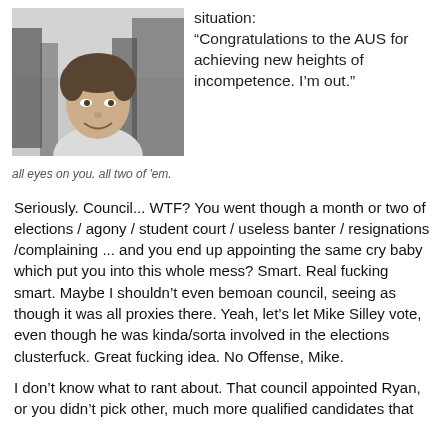[Figure (photo): A young man smiling outdoors in an urban setting, surrounded by people in dark clothing. Black and white / grayscale photo.]
all eyes on you. all two of 'em.
situation: “Congratulations to the AUS for achieving new heights of incompetence. I’m out.”
Seriously. Council... WTF? You went though a month or two of elections / agony / student court / useless banter / resignations /complaining ... and you end up appointing the same cry baby which put you into this whole mess? Smart. Real fucking smart. Maybe I shouldn’t even bemoan council, seeing as though it was all proxies there. Yeah, let’s let Mike Silley vote, even though he was kinda/sorta involved in the elections clusterfuck. Great fucking idea. No Offense, Mike.
I don’t know what to rant about. That council appointed Ryan, or you didn’t pick other, much more qualified candidates that